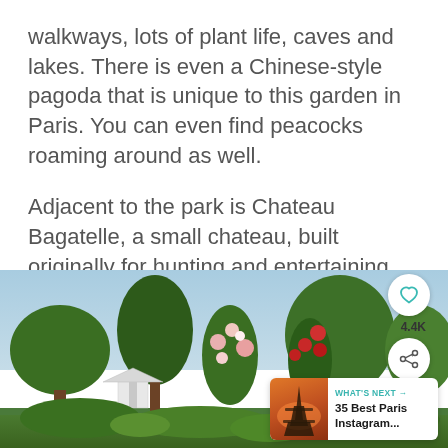walkways, lots of plant life, caves and lakes. There is even a Chinese-style pagoda that is unique to this garden in Paris. You can even find peacocks roaming around as well.
Adjacent to the park is Chateau Bagatelle, a small chateau, built originally for hunting and entertaining only.
[Figure (photo): Outdoor garden photo showing lush green trees including a tall pine, flowering climbing roses in pink and red, a white gazebo or pagoda structure in the background, and a blue sky. UI overlays include a heart/like button, 4.4K count, share button, and a 'What's Next' card showing '35 Best Paris Instagram...' with a thumbnail of the Eiffel Tower.]